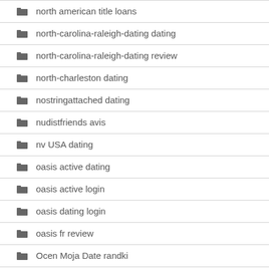north american title loans
north-carolina-raleigh-dating dating
north-carolina-raleigh-dating review
north-charleston dating
nostringattached dating
nudistfriends avis
nv USA dating
oasis active dating
oasis active login
oasis dating login
oasis fr review
Ocen Moja Date randki